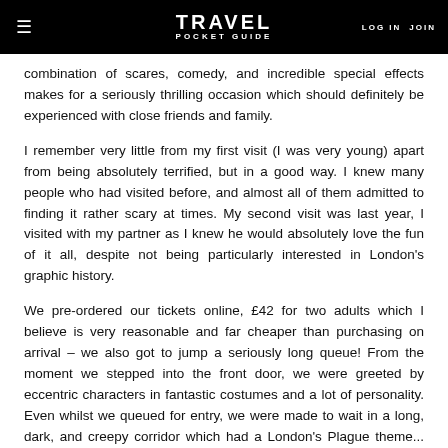TRAVEL POCKET GUIDE | LOG IN | JOIN
combination of scares, comedy, and incredible special effects makes for a seriously thrilling occasion which should definitely be experienced with close friends and family.
I remember very little from my first visit (I was very young) apart from being absolutely terrified, but in a good way. I knew many people who had visited before, and almost all of them admitted to finding it rather scary at times. My second visit was last year, I visited with my partner as I knew he would absolutely love the fun of it all, despite not being particularly interested in London's graphic history.
We pre-ordered our tickets online, £42 for two adults which I believe is very reasonable and far cheaper than purchasing on arrival – we also got to jump a seriously long queue! From the moment we stepped into the front door, we were greeted by eccentric characters in fantastic costumes and a lot of personality. Even whilst we queued for entry, we were made to wait in a long, dark, and creepy corridor which had a London's Plague theme... The stink bombs that are released will burn your nostrils! And the sound effects and banging on doors will